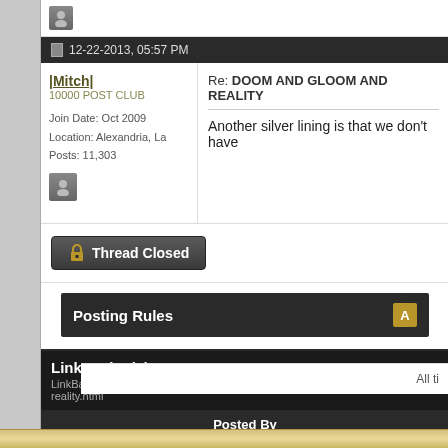12-22-2013, 05:57 PM
|Mitch|
10000 POST CLUB
Join Date: Oct 2009
Location: Alexandria, La
Posts: 11,303
Re: DOOM AND GLOOM AND REALITY
Another silver lining is that we don't have
Thread Closed
Posting Rules
LinkBacks (?)
LinkBack to this Thread: https://blackandgold.com/saints/63090-doom-gloom-reality.html
Posted By
DOOM AND GLOOM AND REALITY
The Latest New Orleans Saints News | SportSpyder
All ti